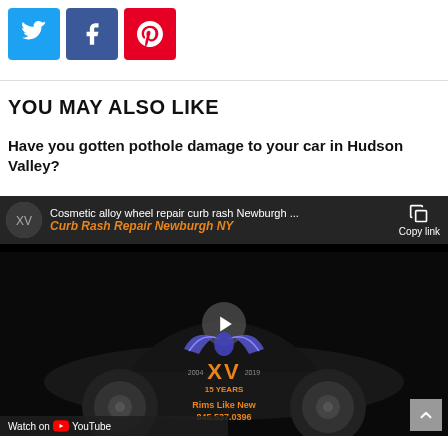[Figure (other): Social share buttons: Twitter (blue), Facebook (dark blue), Pinterest (red)]
YOU MAY ALSO LIKE
Have you gotten pothole damage to your car in Hudson Valley?
[Figure (screenshot): Embedded YouTube video thumbnail showing a black Lamborghini sports car with Rims Like New XV 15 Years logo overlay. Title: Cosmetic alloy wheel repair curb rash Newburgh ... Curb Rash Repair Newburgh NY. Play button centered. Copy link button top right. Watch on YouTube bar at bottom.]